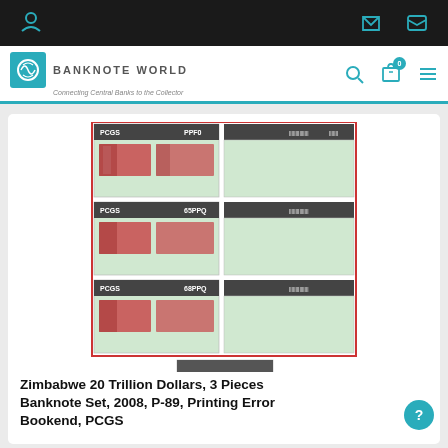Banknote World — top navigation bar with user, phone, mail icons
Banknote World — Connecting Central Banks to the Collector — search, cart (0), menu
[Figure (photo): Product image showing three PCGS-graded Zimbabwe 20 Trillion Dollar banknotes in slabs arranged in a grid (3 pairs of front/back), plus a fourth individual note below labeled CORRECT ONE]
Zimbabwe 20 Trillion Dollars, 3 Pieces Banknote Set, 2008, P-89, Printing Error Bookend, PCGS